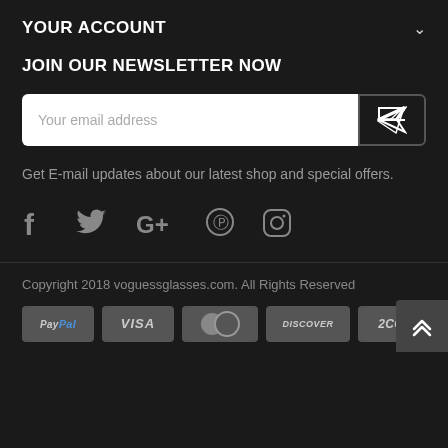YOUR ACCOUNT
JOIN OUR NEWSLETTER NOW
Your email address
Get E-mail updates about our latest shop and special offers.
[Figure (other): Social media icons: Facebook, Twitter, Google+, Pinterest, Instagram]
Copyright 2018 voguessglasses.com. All Rights Reserved
[Figure (other): Payment badges: PayPal, VISA, MasterCard, DISCOVER, 2CO]